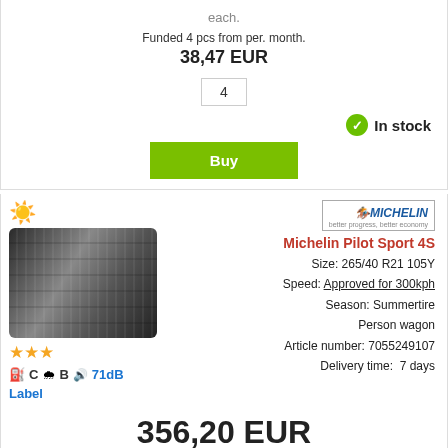each.
Funded 4 pcs from per. month.
38,47 EUR
4
In stock
Buy
[Figure (photo): Tire product image for Michelin Pilot Sport 4S with summer season icon and star ratings]
C  B  71dB
Label
Michelin Pilot Sport 4S
Size: 265/40 R21 105Y
Speed: Approved for 300kph
Season: Summertire
Person wagon
Article number: 7055249107
Delivery time: 7 days
356,20 EUR
each.
Contact